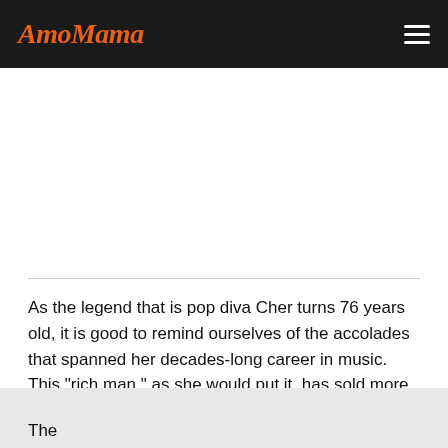AmoMama
As the legend that is pop diva Cher turns 76 years old, it is good to remind ourselves of the accolades that spanned her decades-long career in music. This "rich man," as she would put it, has sold more than 100 million albums, many Grammy nominations, and one Grammy win.